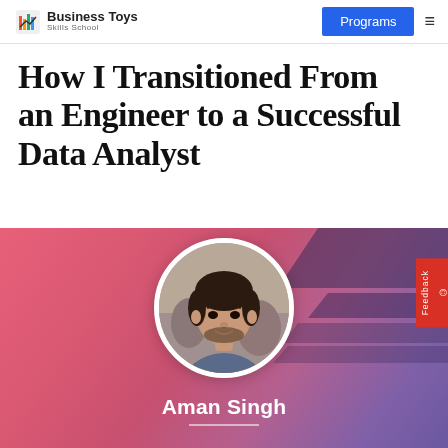Business Toys Skills School | Programs
How I Transitioned From an Engineer to a Successful Data Analyst
[Figure (photo): Hero banner with pink-to-purple gradient background and decorative dark diagonal stripes. A circular profile photo of Aman Singh is centered, showing a young man with dark hair. The name 'Aman Singh' appears below the photo in white text with a short underline.]